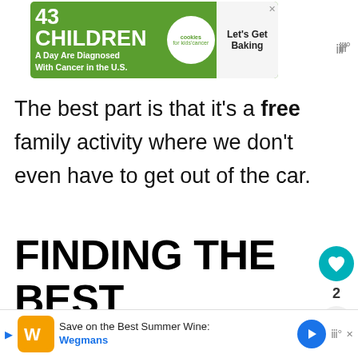[Figure (other): Advertisement banner: '43 CHILDREN A Day Are Diagnosed With Cancer in the U.S.' with cookies for kids' cancer logo and 'Let's Get Baking' text]
The best part is that it's a free family activity where we don't even have to get out of the car.
FINDING THE BEST HOLIDAY LIGHT DISPLAYS
But, how do you find the best light d
[Figure (other): Advertisement banner at bottom: 'Save on the Best Summer Wines' - Wegmans ad with play button, logo, navigation arrow, and speaker icon]